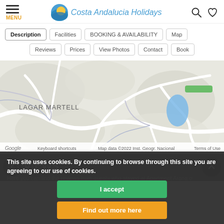Costa Andalucia Holidays
Description
Facilities
BOOKING & AVAILABILITY
Map
Reviews
Prices
View Photos
Contact
Book
[Figure (map): Google Map showing area of Lagar Martell, with terrain roads and a blue water feature. Map data ©2022 Inst. Geogr. Nacional]
This site uses cookies. By continuing to browse through this site you are agreeing to our use of cookies.
I accept
Find out more here
Reviews
Here you can find the reviews from guests who stayed at Apartment Arana o...